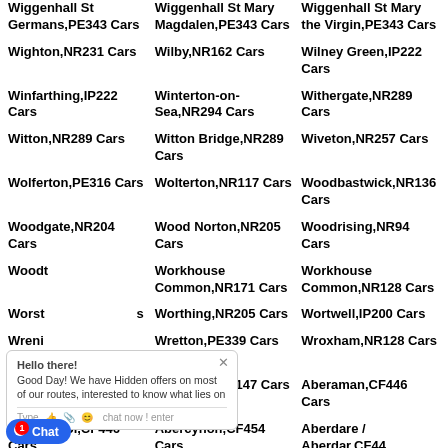Wiggenhall St Germans,PE343 Cars
Wiggenhall St Mary Magdalen,PE343 Cars
Wiggenhall St Mary the Virgin,PE343 Cars
Wighton,NR231 Cars
Wilby,NR162 Cars
Wilney Green,IP222 Cars
Winfarthing,IP222 Cars
Winterton-on-Sea,NR294 Cars
Withergate,NR289 Cars
Witton,NR289 Cars
Witton Bridge,NR289 Cars
Wiveton,NR257 Cars
Wolferton,PE316 Cars
Wolterton,NR117 Cars
Woodbastwick,NR136 Cars
Woodgate,NR204 Cars
Wood Norton,NR205 Cars
Woodrising,NR94 Cars
Woodton,...Cars
Workhouse Common,NR171 Cars
Workhouse Common,NR128 Cars
Worstead,...Cars
Worthing,NR205 Cars
Wortwell,IP200 Cars
Wreningham,...Cars
Wretton,PE339 Cars
Wroxham,NR128 Cars
Yaxham,...Cars
Yelverton,NR147 Cars
Aberaman,CF446 Cars
Abercwmboi,CF446 Cars
Abercynon,CF454 Cars
Aberdare / Aberdar,CF446 Cars